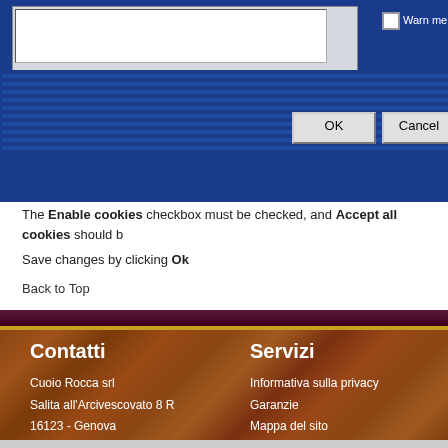[Figure (screenshot): Browser dialog screenshot showing cookie settings with OK and Cancel buttons on a blue background]
The Enable cookies checkbox must be checked, and Accept all cookies should b
Save changes by clicking Ok
Back to Top
Contatti
Cuoio Rocca srl
Salita all'Arcivescovato 8 R
16123 - Genova
Tel/Fax: 010.2474414
Email: info@cuoiorocca.it

Servizi
Informativa sulla privacy
Garanzie
Mappa del sito
Ricerca avanzata
Guida all'acquisto
Termini più ricercati